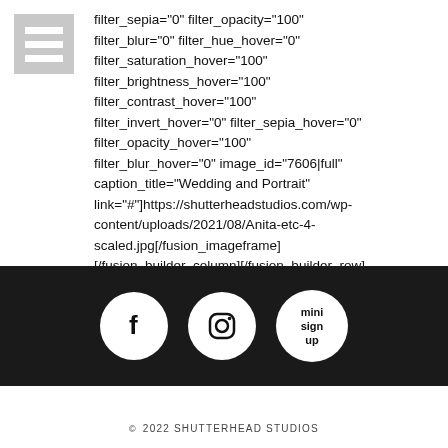[Figure (screenshot): Hamburger/menu icon made of three horizontal white bars on gray background]
filter_sepia="0" filter_opacity="100" filter_blur="0" filter_hue_hover="0" filter_saturation_hover="100" filter_brightness_hover="100" filter_contrast_hover="100" filter_invert_hover="0" filter_sepia_hover="0" filter_opacity_hover="100" filter_blur_hover="0" image_id="7606|full" caption_title="Wedding and Portrait" link="#"]https://shutterheadstudios.com/wp-content/uploads/2021/08/Anita-etc-4-scaled.jpg[/fusion_imageframe] [/fusion_builder_column][/fusion_builder_row] [/fusion_builder_container]
[Figure (infographic): Dark footer bar with three circular icons: Facebook (f), Instagram (camera), and mini sign up button]
© 2022 SHUTTERHEAD STUDIOS